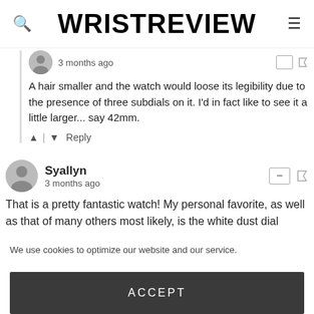WRISTREVIEW
3 months ago
A hair smaller and the watch would loose its legibility due to the presence of three subdials on it. I'd in fact like to see it a little larger... say 42mm.
Reply
Syallyn
3 months ago
That is a pretty fantastic watch! My personal favorite, as well as that of many others most likely, is the white dust dial
We use cookies to optimize our website and our service.
ACCEPT